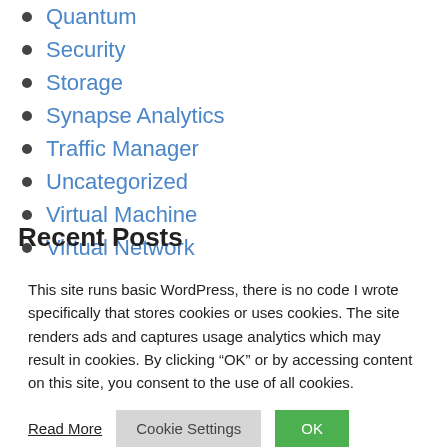Quantum
Security
Storage
Synapse Analytics
Traffic Manager
Uncategorized
Virtual Machine
Virtual Network
Recent Posts
This site runs basic WordPress, there is no code I wrote specifically that stores cookies or uses cookies. The site renders ads and captures usage analytics which may result in cookies. By clicking “OK” or by accessing content on this site, you consent to the use of all cookies.